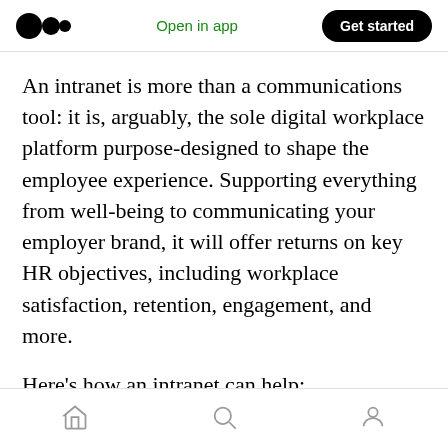Open in app | Get started
An intranet is more than a communications tool: it is, arguably, the sole digital workplace platform purpose-designed to shape the employee experience. Supporting everything from well-being to communicating your employer brand, it will offer returns on key HR objectives, including workplace satisfaction, retention, engagement, and more.
Here’s how an intranet can help:
Build, communicate, and embed company
Home | Search | Profile